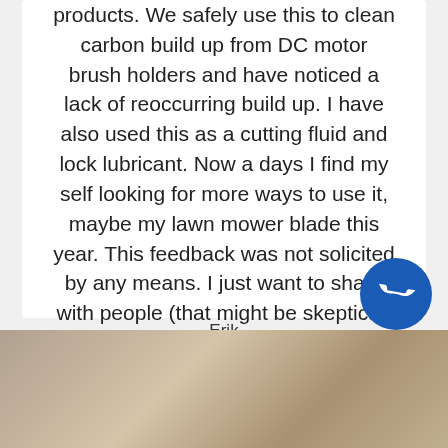products. We safely use this to clean carbon build up from DC motor brush holders and have noticed a lack of reoccurring build up. I have also used this as a cutting fluid and lock lubricant. Now a days I find my self looking for more ways to use it, maybe my lawn mower blade this year. This feedback was not solicited by any means. I just want to share with people (that might be skeptical) how good Superzilla is.
Erik
Glendale Heights, IL
[Figure (photo): Partial photo strip at the bottom of the page showing a brown/tan textured surface, partially visible]
[Figure (illustration): Blue circular phone/call button icon in the bottom right corner with a white telephone handset symbol]